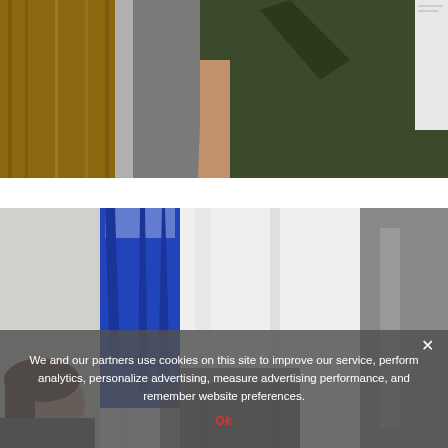[Figure (photo): Person with blonde braided hair wearing a dark olive/green short-sleeve shirt, standing near a wooden door. View is from behind/side, cropped at mid-torso.]
[Figure (photo): Person wearing a bright blue long-sleeve top with arm raised, near white curtains or columns. Another person partially visible at lower left. Scene appears to be indoors.]
We and our partners use cookies on this site to improve our service, perform analytics, personalize advertising, measure advertising performance, and remember website preferences.
Ok